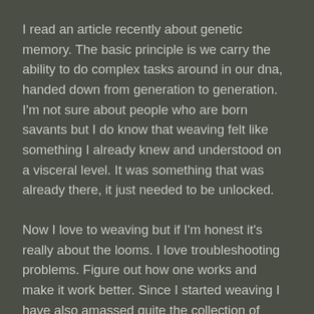I read an article recently about genetic memory.  The basic principle is we carry the ability to do complex tasks around in our dna, handed down from generation to generation.  I'm not sure about people who are born savants but I do know that weaving felt like something I already knew and understood on a visceral level.  It was something that was already there, it just needed to be unlocked.
Now I love to weaving but if I'm honest it's really about the looms. I love troubleshooting problems.  Figure out how one works and make it work better.  Since I started weaving I have also amassed quite the collection of looms.  All but one are in working order and I use most of them, one is a restoration project without room to put it so it waits.